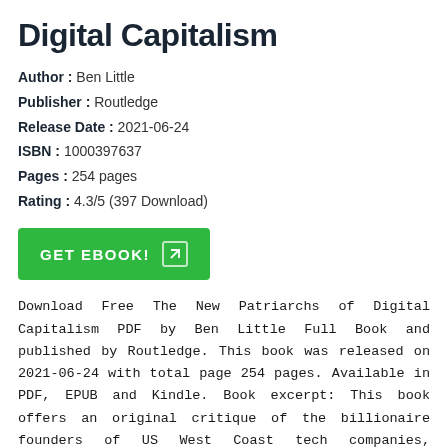Digital Capitalism
Author : Ben Little
Publisher : Routledge
Release Date : 2021-06-24
ISBN : 1000397637
Pages : 254 pages
Rating : 4.3/5 (397 Download)
[Figure (other): Green GET EBOOK! button with arrow icon]
Download Free The New Patriarchs of Digital Capitalism PDF by Ben Little Full Book and published by Routledge. This book was released on 2021-06-24 with total page 254 pages. Available in PDF, EPUB and Kindle. Book excerpt: This book offers an original critique of the billionaire founders of US West Coast tech companies, addressing their collective power, influence, and ideology, their group dynamics, and the role they play in